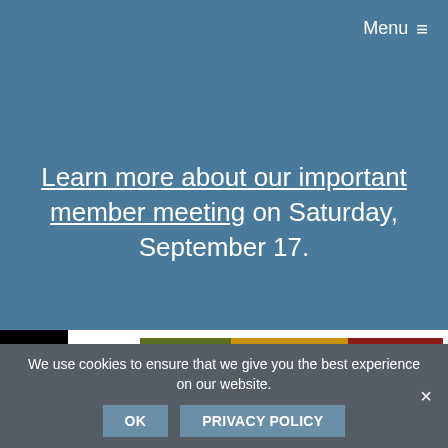Menu ≡
Learn more about our important member meeting on Saturday, September 17.
[Figure (other): Three navigation buttons: VISIT (olive green), DONATE (amber/yellow), SHOP (dark red)]
We use cookies to ensure that we give you the best experience on our website.
HOME > BLOG > ... > PERMACULTU... > ...ANES?...